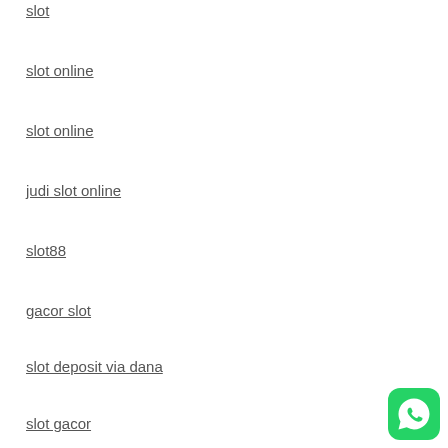slot
slot online
slot online
judi slot online
slot88
gacor slot
slot deposit via dana
slot gacor
[Figure (logo): WhatsApp green logo icon]